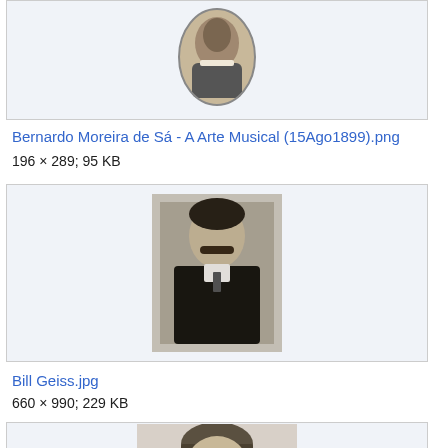[Figure (photo): Black and white oval portrait photograph of a person, partially visible at top of page]
Bernardo Moreira de Sá - A Arte Musical (15Ago1899).png
196 × 289; 95 KB
[Figure (photo): Black and white photograph of a man with a mustache wearing a suit and tie]
Bill Geiss.jpg
660 × 990; 229 KB
[Figure (photo): Black and white photograph of a man in baseball uniform with cap, partially visible at bottom of page]